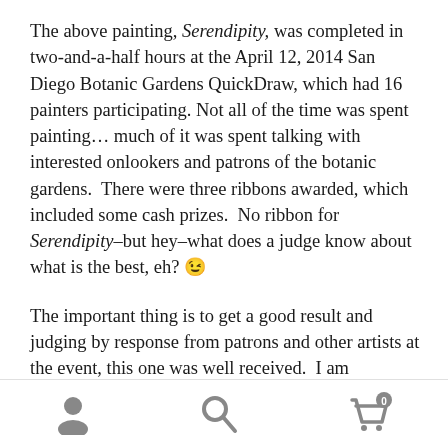The above painting, Serendipity, was completed in two-and-a-half hours at the April 12, 2014 San Diego Botanic Gardens QuickDraw, which had 16 painters participating. Not all of the time was spent painting… much of it was spent talking with interested onlookers and patrons of the botanic gardens.  There were three ribbons awarded, which included some cash prizes.  No ribbon for Serendipity–but hey–what does a judge know about what is the best, eh? 😉
The important thing is to get a good result and judging by response from patrons and other artists at the event, this one was well received.  I am
[Figure (other): Mobile app bottom navigation bar with three icons: user/profile icon, search/magnifying glass icon, and shopping cart icon with a badge showing 0]